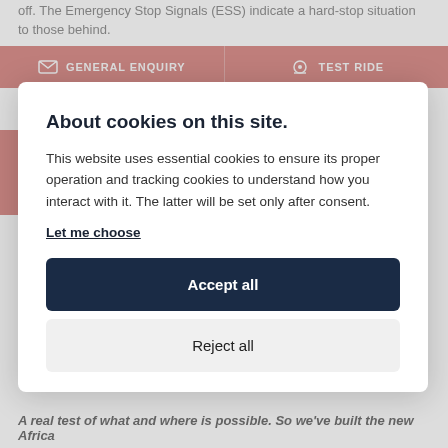off. The Emergency Stop Signals (ESS) indicate a hard-stop situation to those behind.
GENERAL ENQUIRY
TEST RIDE
New chassis, bodywork and riding position ensure off-road control.
VALUE MY P/X
Because control is everything in the dirt. So we completely redesigned the Africa Twin's chassis and a lighter main frame; aluminium CRF450R-style
About cookies on this site.
This website uses essential cookies to ensure its proper operation and tracking cookies to understand how you interact with it. The latter will be set only after consent.
Let me choose
Accept all
Reject all
A real test of what and where is possible. So we've built the new Africa